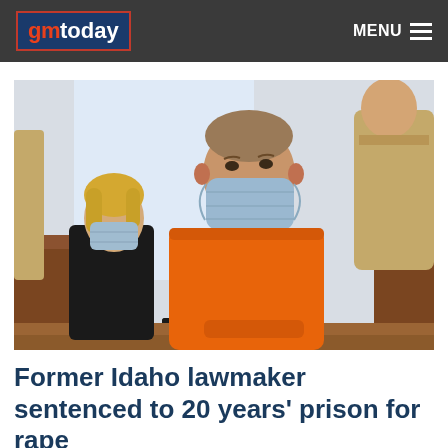gmtoday — MENU
[Figure (photo): Person wearing an orange prison jumpsuit and blue face mask seated at a courtroom desk, with a law enforcement officer standing behind them and another masked person seated in the background.]
Former Idaho lawmaker sentenced to 20 years' prison for rape